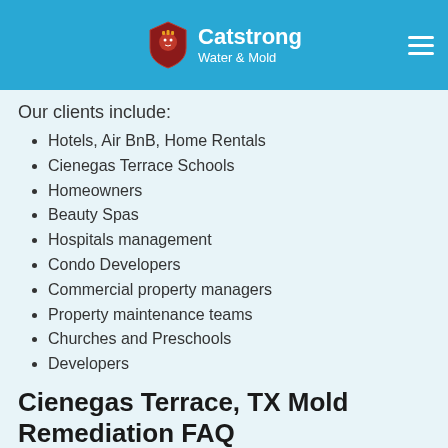Catstrong Water & Mold
Our clients include:
Hotels, Air BnB, Home Rentals
Cienegas Terrace Schools
Homeowners
Beauty Spas
Hospitals management
Condo Developers
Commercial property managers
Property maintenance teams
Churches and Preschools
Developers
Cienegas Terrace, TX Mold Remediation FAQ
Is mold remediation in Cienegas Terrace covered by insurance?